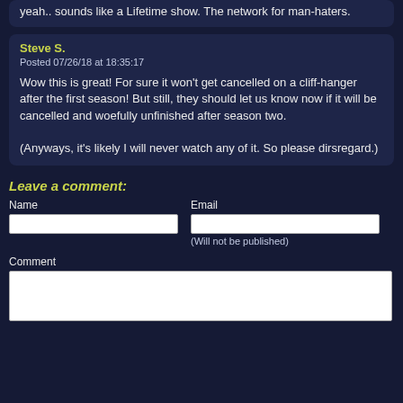yeah.. sounds like a Lifetime show. The network for man-haters.
Steve S.
Posted 07/26/18 at 18:35:17

Wow this is great! For sure it won't get cancelled on a cliff-hanger after the first season! But still, they should let us know now if it will be cancelled and woefully unfinished after season two.

(Anyways, it's likely I will never watch any of it. So please dirsregard.)
Leave a comment:
Name
Email
(Will not be published)
Comment